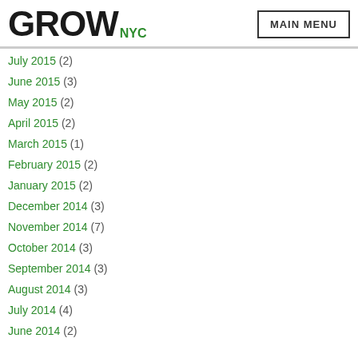GROWNYC | MAIN MENU
July 2015 (2)
June 2015 (3)
May 2015 (2)
April 2015 (2)
March 2015 (1)
February 2015 (2)
January 2015 (2)
December 2014 (3)
November 2014 (7)
October 2014 (3)
September 2014 (3)
August 2014 (3)
July 2014 (4)
June 2014 (2)